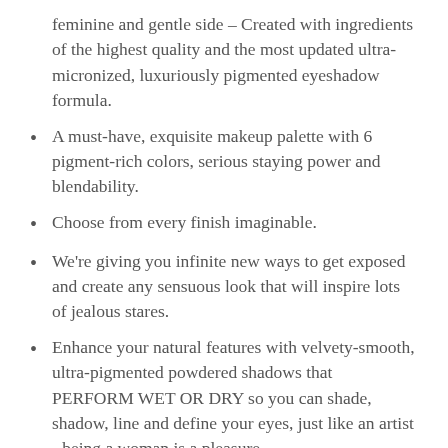feminine and gentle side – Created with ingredients of the highest quality and the most updated ultra-micronized, luxuriously pigmented eyeshadow formula.
A must-have, exquisite makeup palette with 6 pigment-rich colors, serious staying power and blendability.
Choose from every finish imaginable.
We're giving you infinite new ways to get exposed and create any sensuous look that will inspire lots of jealous stares.
Enhance your natural features with velvety-smooth, ultra-pigmented powdered shadows that PERFORM WET OR DRY so you can shade, shadow, line and define your eyes, just like an artist - being a woman is a pleasure.
Ingredients :